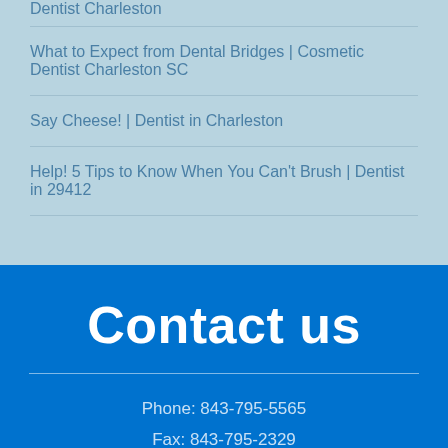What to Expect from Dental Bridges | Cosmetic Dentist Charleston SC
Say Cheese! | Dentist in Charleston
Help! 5 Tips to Know When You Can't Brush | Dentist in 29412
Contact us
Phone: 843-795-5565
Fax: 843-795-2329